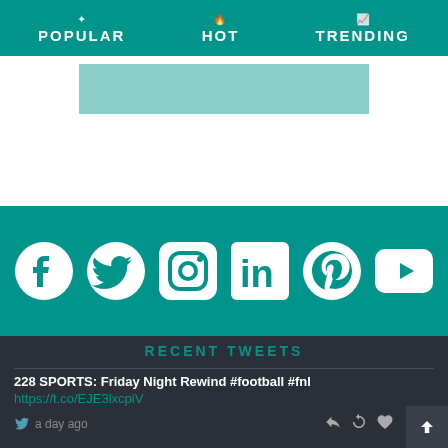POPULAR   HOT   TRENDING
[Figure (screenshot): Teal decorative banner/image area below navigation]
[Figure (infographic): Social media icons bar with Facebook, Twitter, Instagram, LinkedIn, Pinterest, YouTube icons on teal background]
RECENT TWEETS
228 SPORTS: Friday Night Rewind #football #fnl
https://t.co/EJE3lxcpiV
a day ago